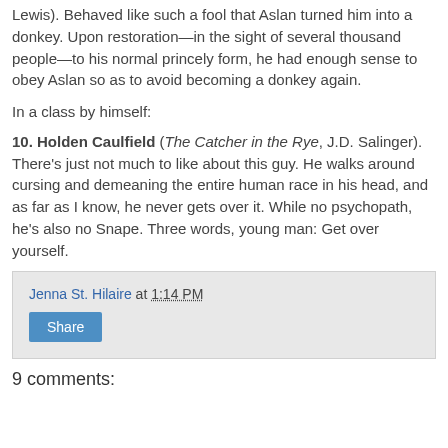Lewis). Behaved like such a fool that Aslan turned him into a donkey. Upon restoration—in the sight of several thousand people—to his normal princely form, he had enough sense to obey Aslan so as to avoid becoming a donkey again.
In a class by himself:
10. Holden Caulfield (The Catcher in the Rye, J.D. Salinger). There's just not much to like about this guy. He walks around cursing and demeaning the entire human race in his head, and as far as I know, he never gets over it. While no psychopath, he's also no Snape. Three words, young man: Get over yourself.
Jenna St. Hilaire at 1:14 PM
Share
9 comments: